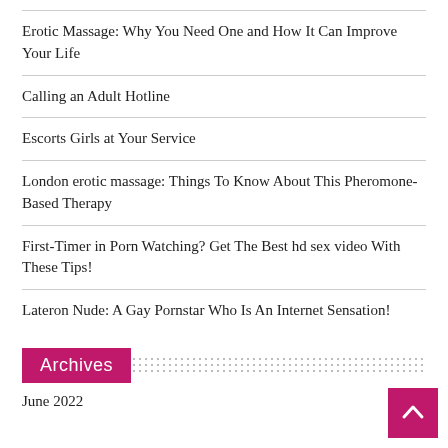Erotic Massage: Why You Need One and How It Can Improve Your Life
Calling an Adult Hotline
Escorts Girls at Your Service
London erotic massage: Things To Know About This Pheromone-Based Therapy
First-Timer in Porn Watching? Get The Best hd sex video With These Tips!
Lateron Nude: A Gay Pornstar Who Is An Internet Sensation!
Archives
June 2022